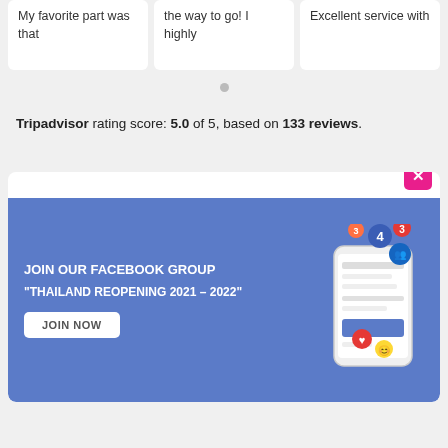My favorite part was that
the way to go! I highly
Excellent service with
Tripadvisor rating score: 5.0 of 5, based on 133 reviews.
[Figure (screenshot): Award card showing Best Tour Operator and Destination Management text, with a Facebook group promotion banner overlaid: JOIN OUR FACEBOOK GROUP THAILAND REOPENING 2021-2022 with a JOIN NOW button and phone illustration with social notification icons. A pink X close button is in the top right corner.]